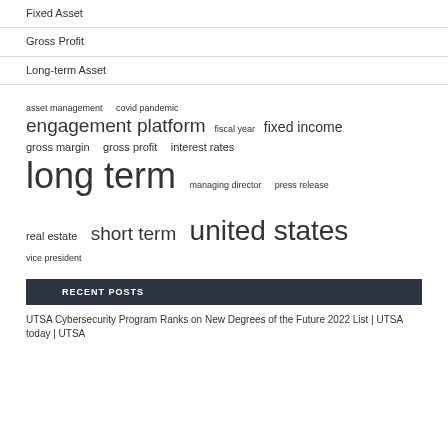Fixed Asset
Gross Profit
Long-term Asset
[Figure (other): Tag cloud with finance-related terms in varying sizes: asset management, covid pandemic, engagement platform, fiscal year, fixed income, gross margin, gross profit, interest rates, long term, managing director, press release, real estate, short term, united states, vice president]
RECENT POSTS
UTSA Cybersecurity Program Ranks on New Degrees of the Future 2022 List | UTSA today | UTSA